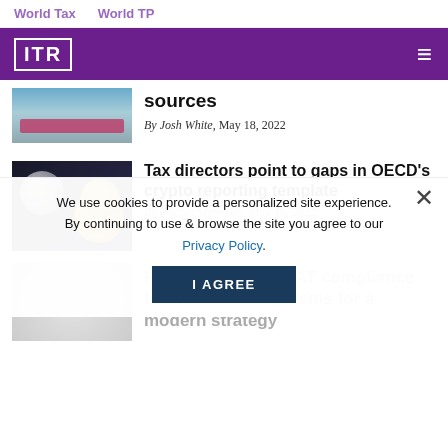World Tax   World TP
[Figure (logo): ITR logo on purple banner header with hamburger menu]
sources
By Josh White, May 18, 2022
[Figure (photo): Cryptocurrency coins including Bitcoin and Ethereum on dark background]
Tax directors point to gaps in OECD's crypto reporting template
By Danish Mehboob, May 16, 2022
[Figure (photo): Blurred white balls/pills on grey background]
How to decouple VAT compliance from business systems for a modern strategy
We use cookies to provide a personalized site experience. By continuing to use & browse the site you agree to our Privacy Policy.
I AGREE